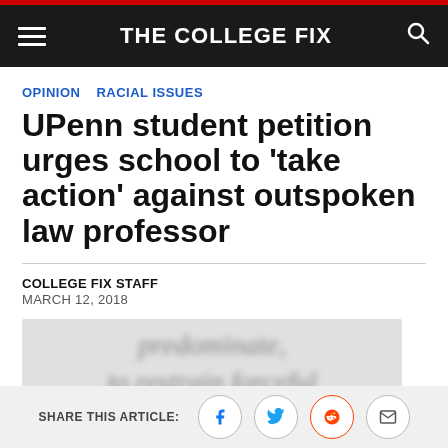THE COLLEGE FIX
OPINION   RACIAL ISSUES
UPenn student petition urges school to 'take action' against outspoken law professor
COLLEGE FIX STAFF
MARCH 12, 2018
[Figure (photo): Blurred/redacted image of text reading partial words 'predominate' and 'to restrain forceful']
SHARE THIS ARTICLE: